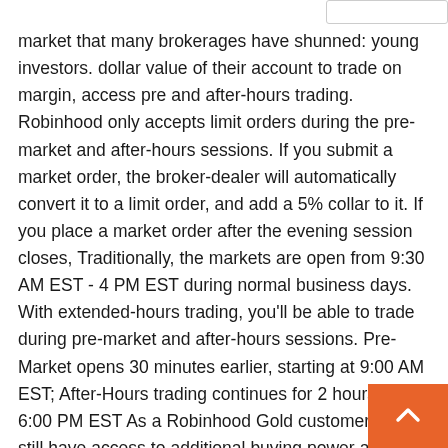market that many brokerages have shunned: young investors. dollar value of their account to trade on margin, access pre and after-hours trading. Robinhood only accepts limit orders during the pre-market and after-hours sessions. If you submit a market order, the broker-dealer will automatically convert it to a limit order, and add a 5% collar to it. If you place a market order after the evening session closes, Traditionally, the markets are open from 9:30 AM EST - 4 PM EST during normal business days. With extended-hours trading, you'll be able to trade during pre-market and after-hours sessions. Pre-Market opens 30 minutes earlier, starting at 9:00 AM EST; After-Hours trading continues for 2 hours, until 6:00 PM EST As a Robinhood Gold customer, you still have access to additional buying power and bigger instant deposits from your bank account. You can make changes to your Robinhood Gold settings in the app or on web. Bringing extended market hours to everyone drastically improves the core Robinhood experience. After-hours trading Robinhood has extended the trading day by 30 minutes before the market opens and two hours after it closes, for a total of 2.5